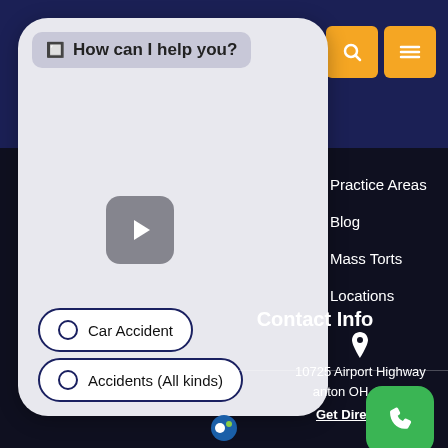[Figure (screenshot): Mobile phone chatbot interface showing 'How can I help you?' with chat option buttons for Car Accident and Accidents (All kinds), plus a play button for video]
How can I help you?
Car Accident
Accidents (All kinds)
Practice Areas
Blog
Mass Torts
Locations
Contact Info
10725 Airport Highway
anton OH 43558
Get Directions